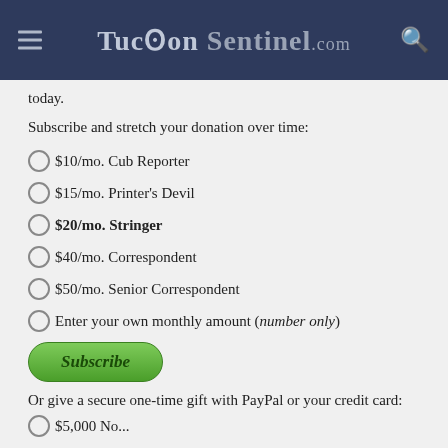TucsonSentinel.com
today.
Subscribe and stretch your donation over time:
$10/mo. Cub Reporter
$15/mo. Printer's Devil
$20/mo. Stringer
$40/mo. Correspondent
$50/mo. Senior Correspondent
Enter your own monthly amount (number only)
Subscribe
Or give a secure one-time gift with PayPal or your credit card:
$5,000 No...